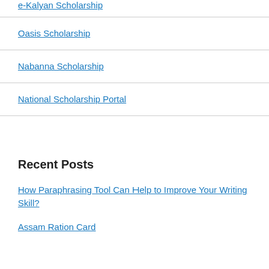e-Kalyan Scholarship
Oasis Scholarship
Nabanna Scholarship
National Scholarship Portal
Recent Posts
How Paraphrasing Tool Can Help to Improve Your Writing Skill?
Assam Ration Card